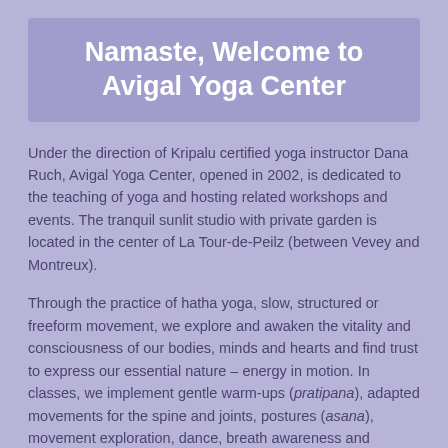Namaste, Welcome to Avigal Yoga Center
Under the direction of Kripalu certified yoga instructor Dana Ruch, Avigal Yoga Center, opened in 2002, is dedicated to the teaching of yoga and hosting related workshops and events. The tranquil sunlit studio with private garden is located in the center of La Tour-de-Peilz (between Vevey and Montreux).
Through the practice of hatha yoga, slow, structured or freeform movement, we explore and awaken the vitality and consciousness of our bodies, minds and hearts and find trust to express our essential nature – energy in motion. In classes, we implement gentle warm-ups (pratipana), adapted movements for the spine and joints, postures (asana), movement exploration, dance, breath awareness and exercises (pranayama), relaxation, mantra, and meditation. Class structure varies, depending on theme…